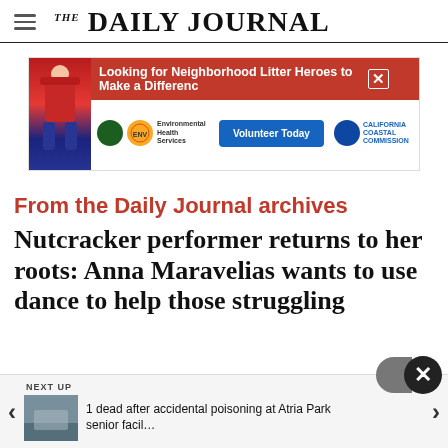THE DAILY JOURNAL
[Figure (advertisement): Advertisement banner: 'Looking for Neighborhood Litter Heroes to Make a Difference' with red background, Environmental Health Services logo, 'Volunteer Today' button, California Coastal Commission logo, and a person in red cape costume on the left side.]
From the Daily Journal archives
Nutcracker performer returns to her roots: Anna Maravelias wants to use dance to help those struggling
NEXT UP
1 dead after accidental poisoning at Atria Park senior facil…